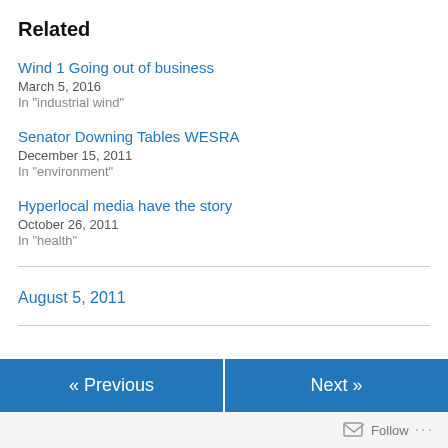Related
Wind 1 Going out of business
March 5, 2016
In "industrial wind"
Senator Downing Tables WESRA
December 15, 2011
In "environment"
Hyperlocal media have the story
October 26, 2011
In "health"
August 5, 2011
« Previous   Next »   Follow ...